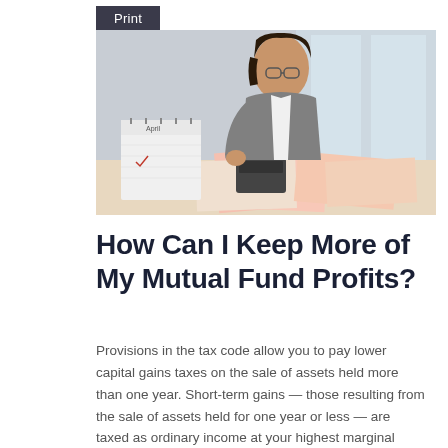Print
[Figure (photo): A woman in a grey blazer and glasses sits at a desk reviewing papers and using a calculator, with an April calendar visible in the foreground.]
How Can I Keep More of My Mutual Fund Profits?
Provisions in the tax code allow you to pay lower capital gains taxes on the sale of assets held more than one year. Short-term gains — those resulting from the sale of assets held for one year or less — are taxed as ordinary income at your highest marginal income tax rate.